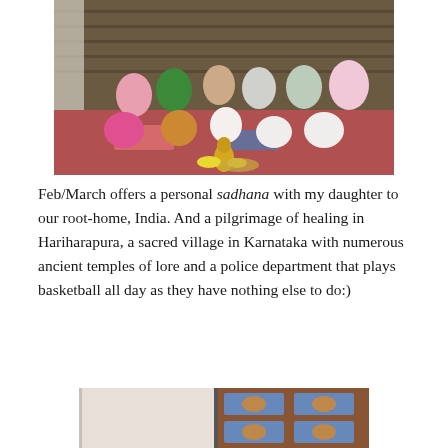[Figure (photo): Group of people sitting and kneeling on the floor of a large open hall with red floor, posing together. A decorative golden statue and yellow flowers are placed in front of them. Curtains visible on the left.]
Feb/March offers a personal sadhana with my daughter to our root-home, India. And a pilgrimage of healing in Hariharapura, a sacred village in Karnataka with numerous ancient temples of lore and a police department that plays basketball all day as they have nothing else to do:)
[Figure (photo): Two-panel image: left panel shows a plain light-colored wall or door frame; right panel shows a decorative carved wooden door with blue painted panels and orange/gold floral motifs.]